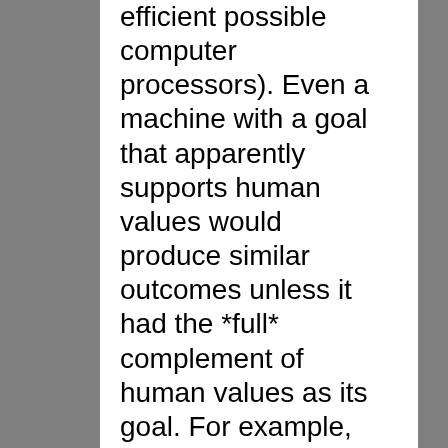efficient possible computer processors). Even a machine with a goal that apparently supports human values would produce similar outcomes unless it had the *full* complement of human values as its goal. For example, an AI whose terminal value is to increase the number of